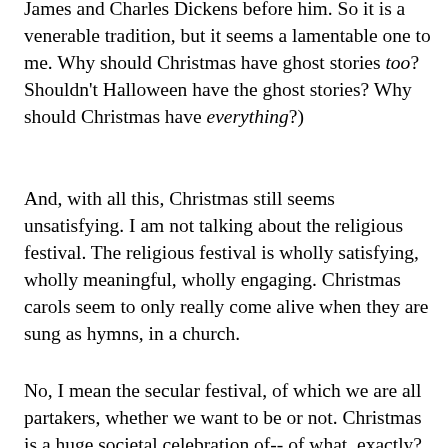James and Charles Dickens before him. So it is a venerable tradition, but it seems a lamentable one to me. Why should Christmas have ghost stories too? Shouldn't Halloween have the ghost stories? Why should Christmas have everything?)
And, with all this, Christmas still seems unsatisfying. I am not talking about the religious festival. The religious festival is wholly satisfying, wholly meaningful, wholly engaging. Christmas carols seem to only really come alive when they are sung as hymns, in a church.
No, I mean the secular festival, of which we are all partakers, whether we want to be or not. Christmas is a huge societal celebration of-- of what, exactly? Nobody seems to exactly know. We feel that it should be a time charged with significance, but when we put any weight upon this, it tends to give way beneath us. I feel slightly naive and embarrassed, writing this. But I think the truth is that, for all our conspicuous irony, we do yearn for some kind of emotional experience at Christmas. We want all the lights and the carols and the decorations and the get-togethers to add to something greater than the sum of their parts. We want some kind of emotional breakthrough. But we always